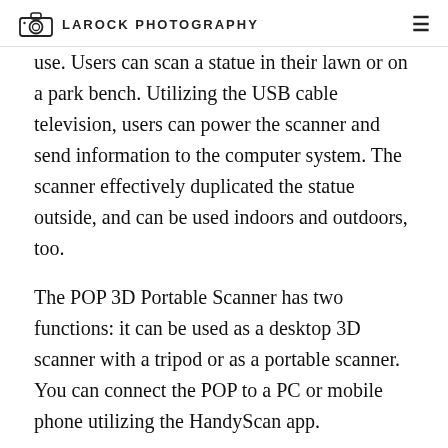LAROCK PHOTOGRAPHY
use. Users can scan a statue in their lawn or on a park bench. Utilizing the USB cable television, users can power the scanner and send information to the computer system. The scanner effectively duplicated the statue outside, and can be used indoors and outdoors, too.
The POP 3D Portable Scanner has two functions: it can be used as a desktop 3D scanner with a tripod or as a portable scanner. You can connect the POP to a PC or mobile phone utilizing the HandyScan app.